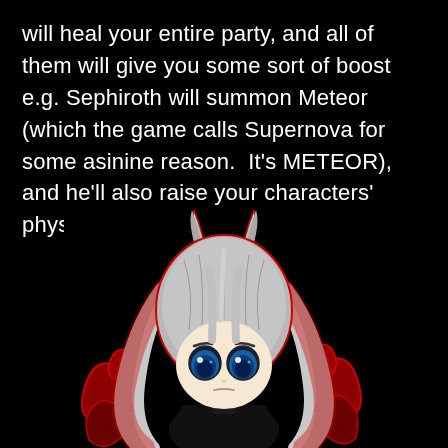will heal your entire party, and all of them will give you some sort of boost e.g. Sephiroth will summon Meteor (which the game calls Supernova for some asinine reason.  It's METEOR), and he'll also raise your characters' physical strength.
[Figure (illustration): Chibi-style illustration of Sephiroth from Final Fantasy VII, depicted with long silver hair, large blue eyes, dark clothing, and red/black decorative elements surrounding the character, set against a black background.]